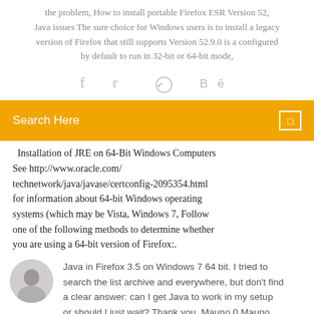the problem, How to install portable Firefox ESR Version 52, Java issues The sure choice for Windows users is to install a legacy version of Firefox that still supports Version 52.9.0 is a configured by default to run in 32-bit or 64-bit mode,
[Figure (infographic): Social share icons: Facebook (f), Twitter bird, a circular icon, and Behance (Be)]
Search Here
Installation of JRE on 64-Bit Windows Computers See http://www.oracle.com/technetwork/java/javase/certconfig-2095354.html for information about 64-bit Windows operating systems (which may be Vista, Windows 7, Follow one of the following methods to determine whether you are using a 64-bit version of Firefox:.
Java in Firefox 3.5 on Windows 7 64 bit. I tried to search the list archive and everywhere, but don't find a clear answer: can I get Java to work in my setup or should I just wait? Thank you, Mauno 0 Mauno.